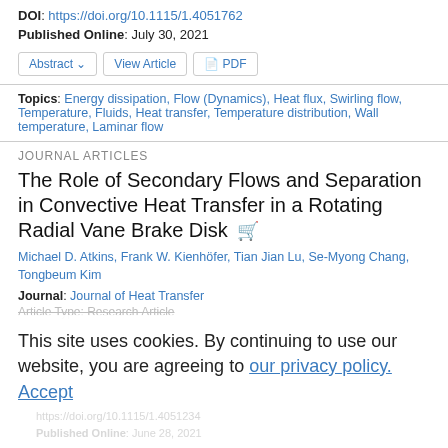DOI: https://doi.org/10.1115/1.4051762
Published Online: July 30, 2021
Abstract  View Article  PDF
Topics: Energy dissipation, Flow (Dynamics), Heat flux, Swirling flow, Temperature, Fluids, Heat transfer, Temperature distribution, Wall temperature, Laminar flow
JOURNAL ARTICLES
The Role of Secondary Flows and Separation in Convective Heat Transfer in a Rotating Radial Vane Brake Disk
Michael D. Atkins, Frank W. Kienhöfer, Tian Jian Lu, Se-Myong Chang, Tongbeum Kim
Journal: Journal of Heat Transfer
Article Type: Research Article
This site uses cookies. By continuing to use our website, you are agreeing to our privacy policy. Accept